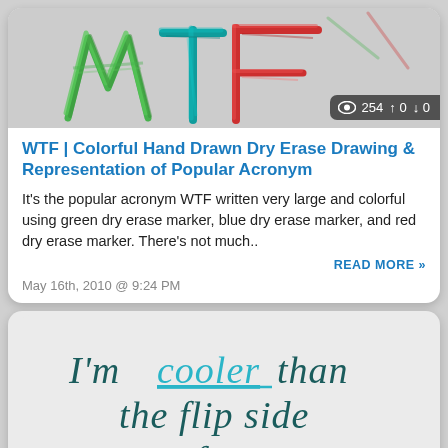[Figure (illustration): Colorful hand-drawn WTF letters in green, teal/blue, and red dry erase marker on a whiteboard, partially cropped at the top. A dark badge in the bottom right shows an eye icon, 254 views, up arrow 0, down arrow 0.]
WTF | Colorful Hand Drawn Dry Erase Drawing & Representation of Popular Acronym
It's the popular acronym WTF written very large and colorful using green dry erase marker, blue dry erase marker, and red dry erase marker. There's not much..
READ MORE »
May 16th, 2010 @ 9:24 PM
[Figure (photo): Handwritten text on a whiteboard in dark teal marker reading: I'm cooler than the flip side of my]